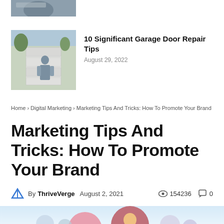[Figure (photo): Partial photo of mechanical/vacuum equipment on a table, cropped at top]
10 Significant Garage Door Repair Tips
August 29, 2022
[Figure (photo): Photo of a man working on a white garage door]
Home › Digital Marketing › Marketing Tips And Tricks: How To Promote Your Brand
Marketing Tips And Tricks: How To Promote Your Brand
By ThriveVerge   August 2, 2021   154236   0
[Figure (illustration): Colorful marketing illustration with circular avatar icons on a light blue background, partially visible at bottom]